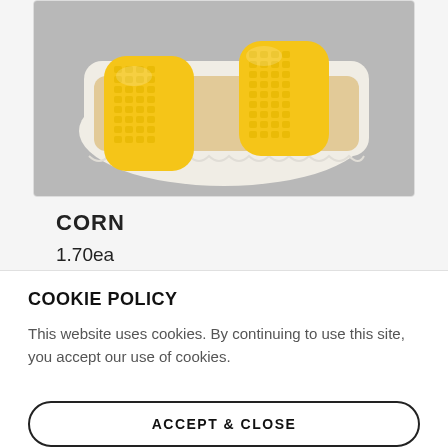[Figure (photo): Photo of corn on the cob pieces in a white tray on a grey background]
CORN
1.70ea
COOKIE POLICY
This website uses cookies. By continuing to use this site, you accept our use of cookies.
ACCEPT & CLOSE